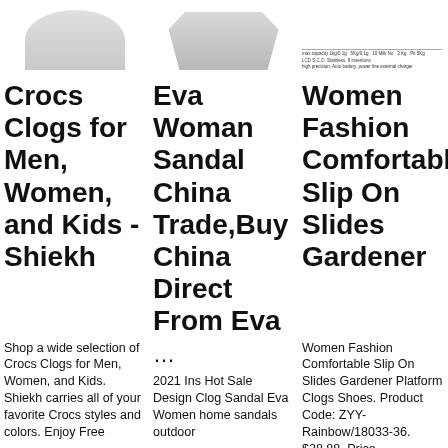[Figure (photo): Partial image of Crocs clog shoe, top portion visible]
[Figure (photo): Partial image of Eva Woman Sandal, top portion visible]
[Figure (other): Product specification table image for Women Fashion slides]
Crocs Clogs for Men, Women, and Kids - Shiekh
Eva Woman Sandal China Trade,Buy China Direct From Eva
Women Fashion Comfortable Slip On Slides Gardener
Shop a wide selection of Crocs Clogs for Men, Women, and Kids. Shiekh carries all of your favorite Crocs styles and colors. Enjoy Free
... 2021 Ins Hot Sale Design Clog Sandal Eva Women home sandals outdoor
Women Fashion Comfortable Slip On Slides Gardener Platform Clogs Shoes. Product Code: ZYY-Rainbow/18033-36. $38.88. Price